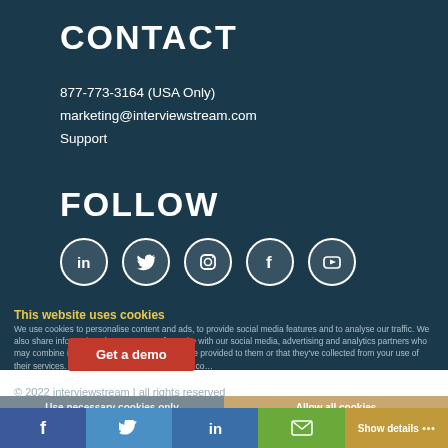CONTACT
877-773-3164 (USA Only)
marketing@interviewstream.com
Support
FOLLOW
[Figure (other): Row of five social media icons: LinkedIn, Twitter, Instagram, Facebook, YouTube — white circle outlines on dark background]
This website uses cookies
We use cookies to personalise content and ads, to provide social media features and to analyse our traffic. We also share information about your use of our site with our social media, advertising and analytics partners who may combine it with other information that you've provided to them or that they've collected from your use of their services. You consent to our cookies if you co…
Get a demo
© 2022 interviewstream | all rights reserved
Use necessary cookies only
Allow all cookies
Show details